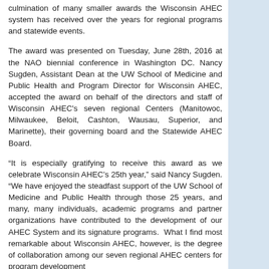culmination of many smaller awards the Wisconsin AHEC system has received over the years for regional programs and statewide events.
The award was presented on Tuesday, June 28th, 2016 at the NAO biennial conference in Washington DC. Nancy Sugden, Assistant Dean at the UW School of Medicine and Public Health and Program Director for Wisconsin AHEC, accepted the award on behalf of the directors and staff of Wisconsin AHEC's seven regional Centers (Manitowoc, Milwaukee, Beloit, Cashton, Wausau, Superior, and Marinette), their governing board and the Statewide AHEC Board.
“It is especially gratifying to receive this award as we celebrate Wisconsin AHEC’s 25th year,” said Nancy Sugden. “We have enjoyed the steadfast support of the UW School of Medicine and Public Health through those 25 years, and many, many individuals, academic programs and partner organizations have contributed to the development of our AHEC System and its signature programs.  What I find most remarkable about Wisconsin AHEC, however, is the degree of collaboration among our seven regional AHEC centers for program development